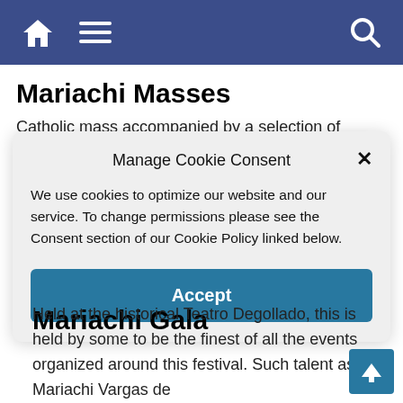Navigation bar with home, menu, and search icons
Mariachi Masses
Catholic mass accompanied by a selection of mariachis.
Manage Cookie Consent
We use cookies to optimize our website and our service. To change permissions please see the Consent section of our Cookie Policy linked below.
Accept
Mariachi Gala
Held at the historical Teatro Degollado, this is held by some to be the finest of all the events organized around this festival. Such talent as Mariachi Vargas de